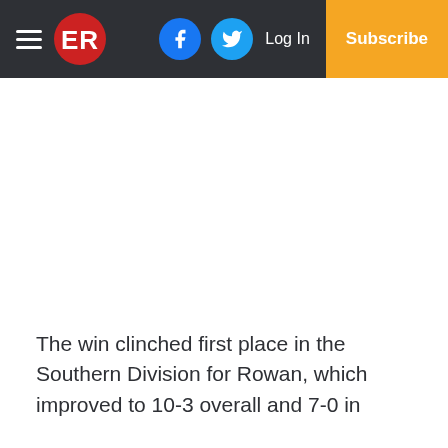ER | Log In | Subscribe
The win clinched first place in the Southern Division for Rowan, which improved to 10-3 overall and 7-0 in